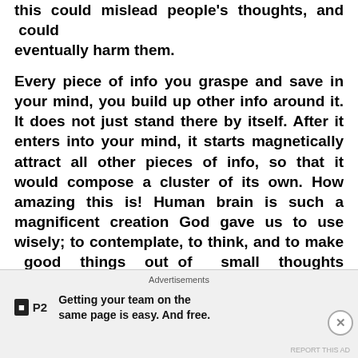this could mislead people's thoughts, and could eventually harm them.
Every piece of info you graspe and save in your mind, you build up other info around it. It does not just stand there by itself. After it enters into your mind, it starts magnetically attract all other pieces of info, so that it would compose a cluster of its own. How amazing this is! Human brain is such a magnificent creation God gave us to use wisely; to contemplate, to think, and to make good things out of  small thoughts standing next to each other in our humble brains.
In that test/interview class, I had  9 people, and I began my class using a white board, a laptop
Advertisements
Getting your team on the same page is easy. And free.